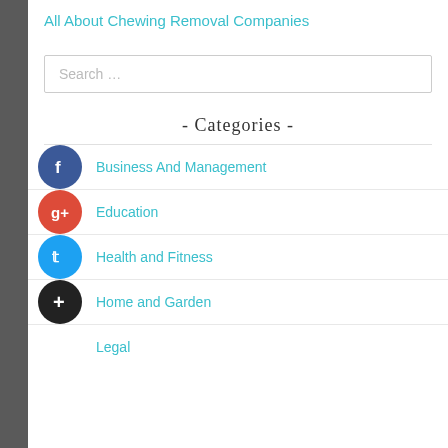All About Chewing Removal Companies
Search …
- Categories -
Business And Management
Education
Health and Fitness
Home and Garden
Legal